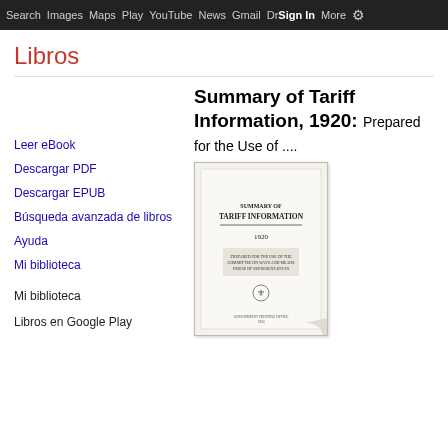Search  Images  Maps  Play  YouTube  News  Gmail  Drive  More  Sign in  [gear]
Libros
Leer eBook
Descargar PDF
Descargar EPUB
Búsqueda avanzada de libros
Ayuda
Mi biblioteca
Mi biblioteca
Libros en Google Play
Summary of Tariff Information, 1920: Prepared for the Use of ....
[Figure (photo): Book cover of 'Summary of Tariff Information 1920', a scanned title page showing the book title in large serif text, with publication details below.]